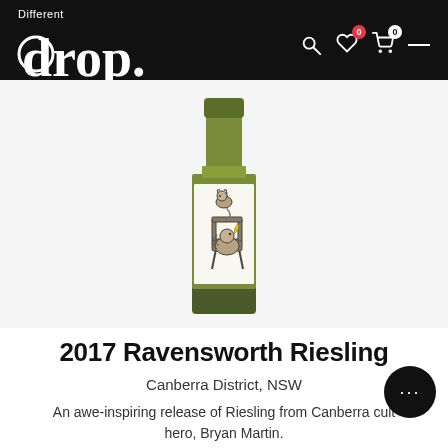Different drop. [navigation: search, wishlist (0), cart (0), menu]
[Figure (photo): Wine bottle with illustrated label showing cartoon animals — a marmot or hedgehog-like creature sitting on a chair, with a dog or wolf-like figure hanging above on a fishing hook, on a white/cream label. Olive-green glass bottle.]
2017 Ravensworth Riesling
Canberra District, NSW
An awe-inspiring release of Riesling from Canberra cult hero, Bryan Martin.